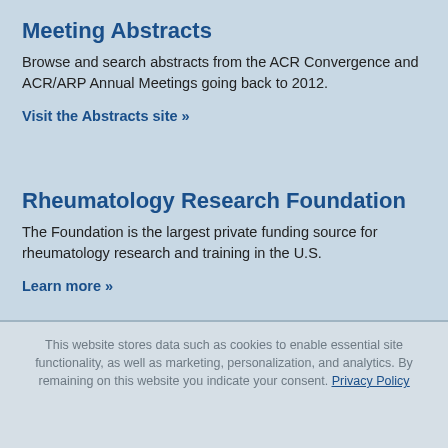Meeting Abstracts
Browse and search abstracts from the ACR Convergence and ACR/ARP Annual Meetings going back to 2012.
Visit the Abstracts site »
Rheumatology Research Foundation
The Foundation is the largest private funding source for rheumatology research and training in the U.S.
Learn more »
This website stores data such as cookies to enable essential site functionality, as well as marketing, personalization, and analytics. By remaining on this website you indicate your consent. Privacy Policy